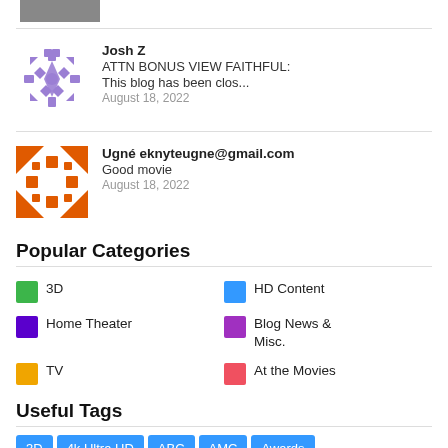[Figure (photo): Partial photo at top]
Josh Z
ATTN BONUS VIEW FAITHFUL:
This blog has been clos...
August 18, 2022
Ugné eknyteugne@gmail.com
Good movie
August 18, 2022
Popular Categories
3D
HD Content
Home Theater
Blog News & Misc.
TV
At the Movies
Useful Tags
3D
4k Ultra HD
ABC
AMC
Awards